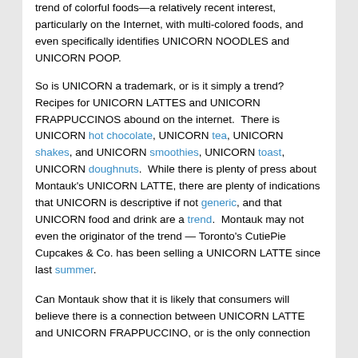trend of colorful foods—a relatively recent interest, particularly on the Internet, with multi-colored foods, and even specifically identifies UNICORN NOODLES and UNICORN POOP.
So is UNICORN a trademark, or is it simply a trend?  Recipes for UNICORN LATTES and UNICORN FRAPPUCCINOS abound on the internet.  There is UNICORN hot chocolate, UNICORN tea, UNICORN shakes, and UNICORN smoothies, UNICORN toast, UNICORN doughnuts.  While there is plenty of press about Montauk's UNICORN LATTE, there are plenty of indications that UNICORN is descriptive if not generic, and that UNICORN food and drink are a trend.  Montauk may not even the originator of the trend — Toronto's CutiePie Cupcakes & Co. has been selling a UNICORN LATTE since last summer.
Can Montauk show that it is likely that consumers will believe there is a connection between UNICORN LATTE and UNICORN FRAPPUCCINO, or is the only connection